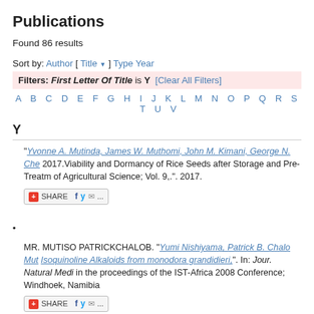Publications
Found 86 results
Sort by: Author [ Title ] Type Year
Filters: First Letter Of Title is Y [Clear All Filters]
A B C D E F G H I J K L M N O P Q R S T U V
Y
"Yvonne A. Mutinda, James W. Muthomi, John M. Kimani, George N. Che 2017.Viability and Dormancy of Rice Seeds after Storage and Pre-Treatm of Agricultural Science; Vol. 9,.". 2017.
SHARE
MR. MUTISO PATRICKCHALOB. "Yumi Nishiyama, Patrick B. Chalo Mut Isoquinoline Alkaloids from monodora grandidieri,". In: Jour. Natural Medi in the proceedings of the IST-Africa 2008 Conference; Windhoek, Namibia
SHARE
MR. MUTISO PATRICKCHALOB. "Yumi Nishiyama, Momoyo Ichimaru. A